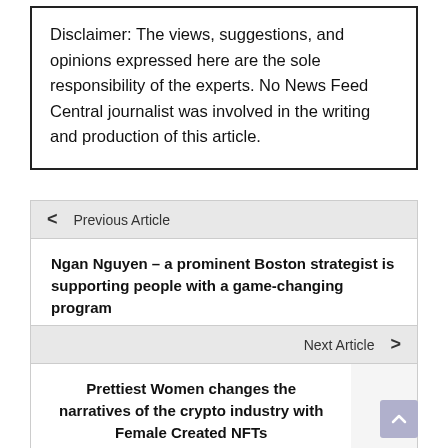Disclaimer: The views, suggestions, and opinions expressed here are the sole responsibility of the experts. No News Feed Central journalist was involved in the writing and production of this article.
< Previous Article
Ngan Nguyen – a prominent Boston strategist is supporting people with a game-changing program
Next Article >
Prettiest Women changes the narratives of the crypto industry with Female Created NFTs